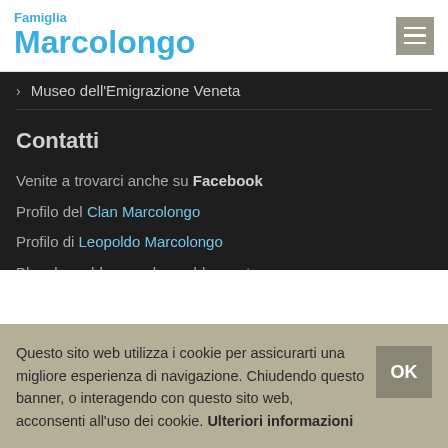Famiglia Marcolongo
> Museo dell'Emigrazione Veneta
Contatti
Venite a trovarci anche su Facebook
Profilo del Clan Marcolongo
Profilo di Leopoldo Marcolongo
Blog: leopoldomarcolongo.blogspot.com
Leopoldo Marcolongo
Questo sito web utilizza i cookie per assicurarti una migliore esperienza di navigazione. Chiudendo questo banner, o interagendo con questo sito web, acconsenti all'uso dei cookie. Ulteriori informazioni